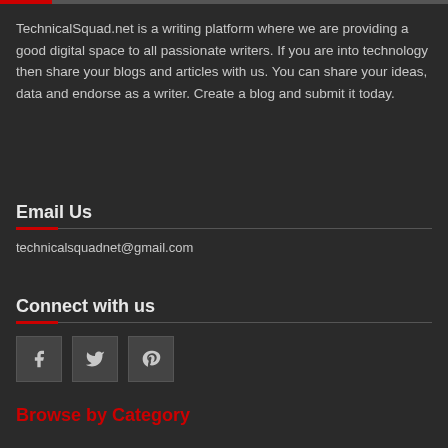TechnicalSquad.net is a writing platform where we are providing a good digital space to all passionate writers. If you are into technology then share your blogs and articles with us. You can share your ideas, data and endorse as a writer. Create a blog and submit it today.
Email Us
technicalsquadnet@gmail.com
Connect with us
[Figure (other): Social media icons: Facebook, Twitter, Pinterest]
Browse by Category